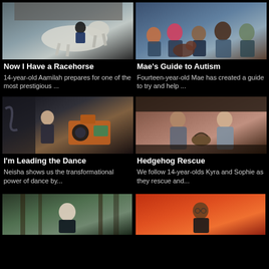[Figure (photo): Person riding a white horse outdoors near a building]
Now I Have a Racehorse
14-year-old Aamilah prepares for one of the most prestigious ...
[Figure (photo): Group of people and a dog sitting on a sofa indoors]
Mae's Guide to Autism
Fourteen-year-old Mae has created a guide to try and help ...
[Figure (photo): Young woman standing near a film camera with orange equipment in background]
I'm Leading the Dance
Neisha shows us the transformational power of dance by...
[Figure (photo): Two teenage girls sitting outdoors in winter clothing holding a hedgehog]
Hedgehog Rescue
We follow 14-year-olds Kyra and Sophie as they rescue and...
[Figure (photo): Person standing in a forest]
[Figure (photo): Person in school uniform against orange/red background]